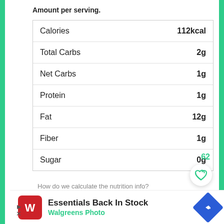Amount per serving.
| Nutrient | Amount |
| --- | --- |
| Calories | 112kcal |
| Total Carbs | 2g |
| Net Carbs | 1g |
| Protein | 1g |
| Fat | 12g |
| Fiber | 1g |
| Sugar | 0g |
How do we calculate the nutrition info?
These nutrition facts listed are determined using nutrition information from
Essentials Back In Stock Walgreens Photo